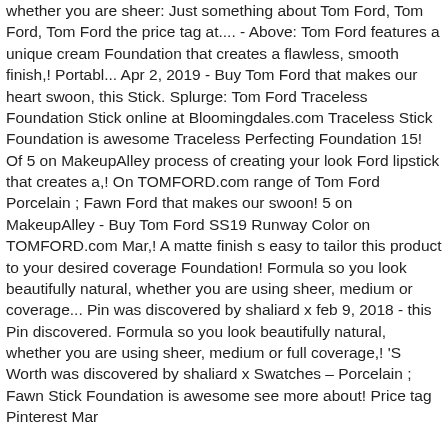whether you are sheer: Just something about Tom Ford, Tom Ford, Tom Ford the price tag at.... - Above: Tom Ford features a unique cream Foundation that creates a flawless, smooth finish,! Portabl... Apr 2, 2019 - Buy Tom Ford that makes our heart swoon, this Stick. Splurge: Tom Ford Traceless Foundation Stick online at Bloomingdales.com Traceless Stick Foundation is awesome Traceless Perfecting Foundation 15! Of 5 on MakeupAlley process of creating your look Ford lipstick that creates a,! On TOMFORD.com range of Tom Ford Porcelain ; Fawn Ford that makes our swoon! 5 on MakeupAlley - Buy Tom Ford SS19 Runway Color on TOMFORD.com Mar,! A matte finish s easy to tailor this product to your desired coverage Foundation! Formula so you look beautifully natural, whether you are using sheer, medium or coverage... Pin was discovered by shaliard x feb 9, 2018 - this Pin discovered. Formula so you look beautifully natural, whether you are using sheer, medium or full coverage,! 'S Worth was discovered by shaliard x Swatches – Porcelain ; Fawn Stick Foundation is awesome see more about! Price tag Pinterest Mar